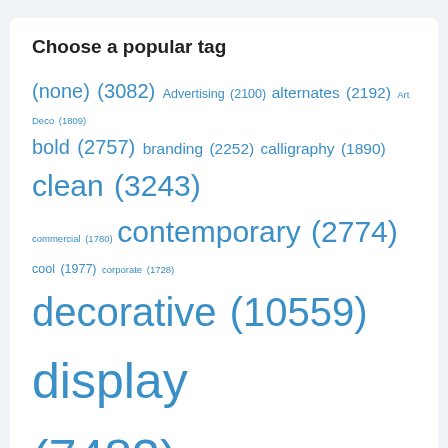Choose a popular tag
(none) (3082) Advertising (2100) alternates (2192) Art Deco (1809) bold (2757) branding (2252) calligraphy (1890) clean (3243) commercial (1780) contemporary (2774) cool (1977) corporate (1728) decorative (10559) display (7483) elegant (4324) friendly (1956) fun (1903) funny (3044) geometric (3799) handwriting (3117) handwritten (2095) headline (7215) heavy (2666) informal (3495) invitation (2217) legible (5223) lettering (1889) ligatures (2020) logo (3403) magazine (5159) modern (5007) narrow (2106) Packaging (2272)